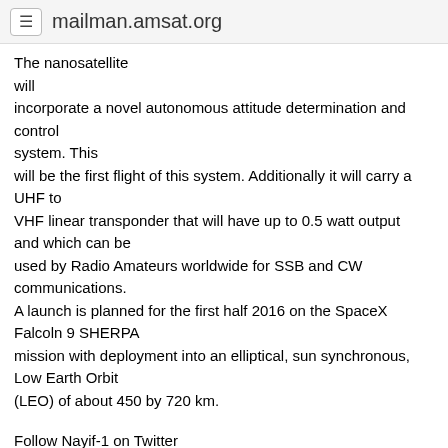mailman.amsat.org
The nanosatellite will incorporate a novel autonomous attitude determination and control system. This will be the first flight of this system. Additionally it will carry a UHF to VHF linear transponder that will have up to 0.5 watt output and which can be used by Radio Amateurs worldwide for SSB and CW communications. A launch is planned for the first half 2016 on the SpaceX Falcoln 9 SHERPA mission with deployment into an elliptical, sun synchronous, Low Earth Orbit (LEO) of about 450 by 720 km.
Follow Nayif-1 on Twitter
https://twitter.com/Nayifone